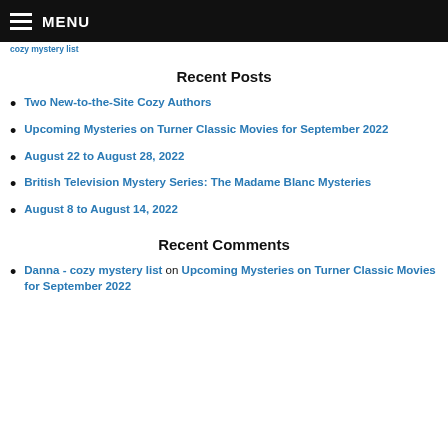MENU
cozy mystery list
Recent Posts
Two New-to-the-Site Cozy Authors
Upcoming Mysteries on Turner Classic Movies for September 2022
August 22 to August 28, 2022
British Television Mystery Series: The Madame Blanc Mysteries
August 8 to August 14, 2022
Recent Comments
Danna - cozy mystery list on Upcoming Mysteries on Turner Classic Movies for September 2022